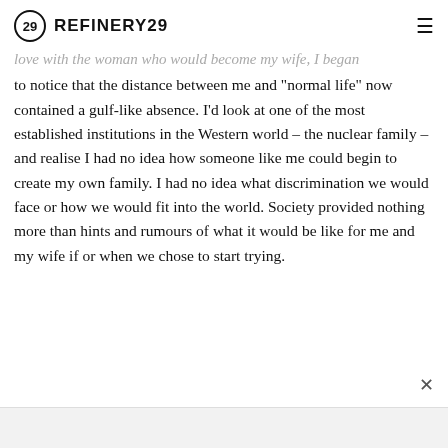REFINERY29
love with the woman who would become my wife, I began to notice that the distance between me and "normal life" now contained a gulf-like absence. I'd look at one of the most established institutions in the Western world – the nuclear family – and realise I had no idea how someone like me could begin to create my own family. I had no idea what discrimination we would face or how we would fit into the world. Society provided nothing more than hints and rumours of what it would be like for me and my wife if or when we chose to start trying.